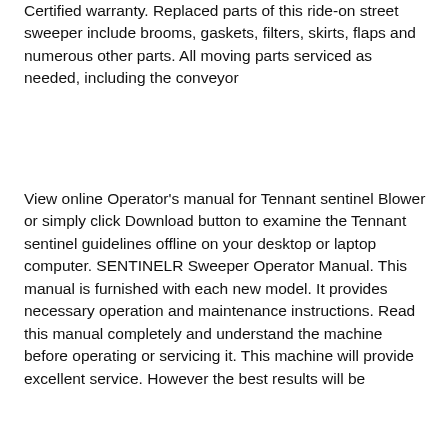Certified warranty. Replaced parts of this ride-on street sweeper include brooms, gaskets, filters, skirts, flaps and numerous other parts. All moving parts serviced as needed, including the conveyor
View online Operator's manual for Tennant sentinel Blower or simply click Download button to examine the Tennant sentinel guidelines offline on your desktop or laptop computer. SENTINELR Sweeper Operator Manual. This manual is furnished with each new model. It provides necessary operation and maintenance instructions. Read this manual completely and understand the machine before operating or servicing it. This machine will provide excellent service. However the best results will be